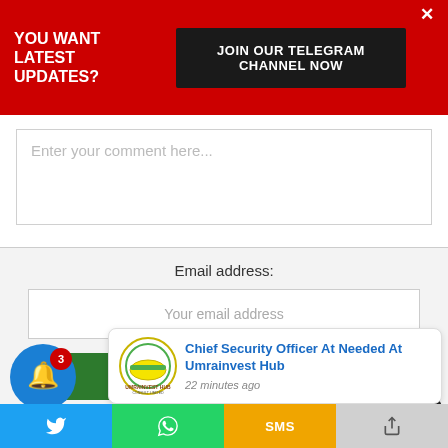YOU WANT LATEST UPDATES?
JOIN OUR TELEGRAM CHANNEL NOW
Enter your comment here...
Email address:
Your email address
SIGN UP
Chief Security Officer At Needed At Umrainvest Hub
22 minutes ago